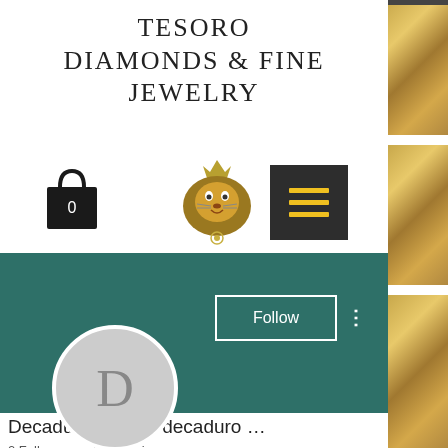TESORO DIAMONDS & FINE JEWELRY
[Figure (logo): Lion head logo in gold/olive color with crown]
[Figure (screenshot): Website screenshot showing Tesoro Diamonds & Fine Jewelry store page with shopping bag icon (0), lion logo, hamburger menu button, teal profile banner with D avatar, Follow button, Decaduro results profile name, 0 Followers 0 Following, and bottom icon bar with Phone, Email, Faceb..., Instagr..., Yelp icons]
Decaduro results, decaduro ...
0 Followers • 0 Following
Phone
Email
Faceb...
Instagr...
Yelp